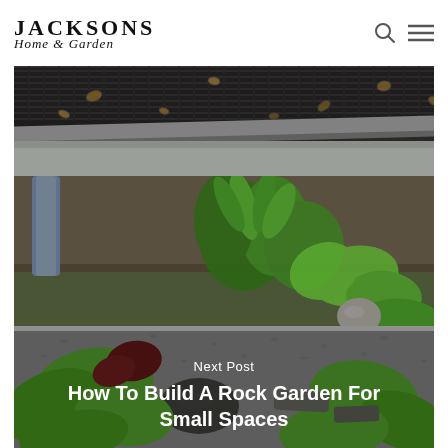Jacksons Home & Garden
[Figure (photo): Close-up of dark metal roof tiles/gutter with fallen autumn leaves]
[Figure (photo): Rock garden with hostas, ferns, gravel and rounded stones; text overlay reads 'Next Post / How To Build A Rock Garden For Small Spaces']
Next Post
How To Build A Rock Garden For Small Spaces